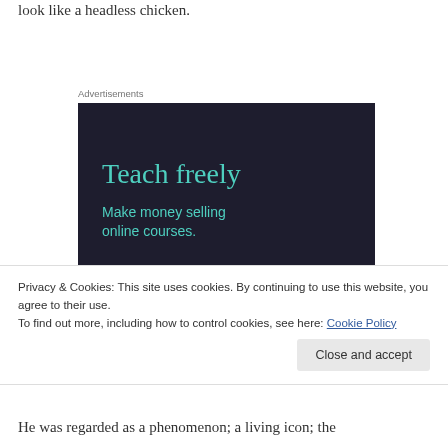look like a headless chicken.
Advertisements
[Figure (infographic): Advertisement banner with dark navy background showing 'Teach freely' in teal serif font and 'Make money selling online courses.' in teal sans-serif font below.]
Privacy & Cookies: This site uses cookies. By continuing to use this website, you agree to their use.
To find out more, including how to control cookies, see here: Cookie Policy
He was regarded as a phenomenon; a living icon; the